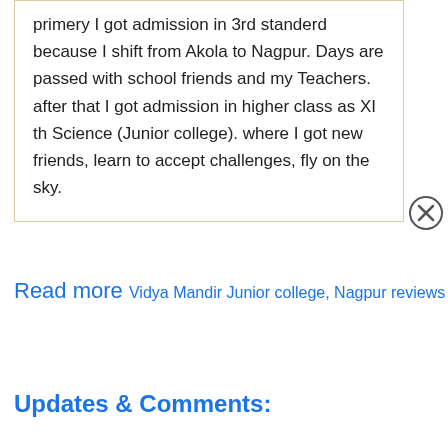primery I got admission in 3rd standerd because I shift from Akola to Nagpur. Days are passed with school friends and my Teachers. after that I got admission in higher class as XI th Science (Junior college). where I got new friends, learn to accept challenges, fly on the sky.
Read more Vidya Mandir Junior college, Nagpur reviews
Updates & Comments: